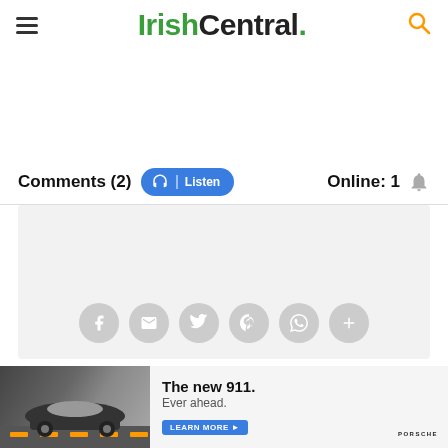IrishCentral.
Comments (2)   Listen   Online: 1
[Figure (screenshot): Comment area with social sharing icons (Facebook, email, Twitter, Pinterest, WhatsApp, more)]
[Figure (photo): Porsche advertisement: The new 911. Ever ahead. Learn More. Car driving on road.]